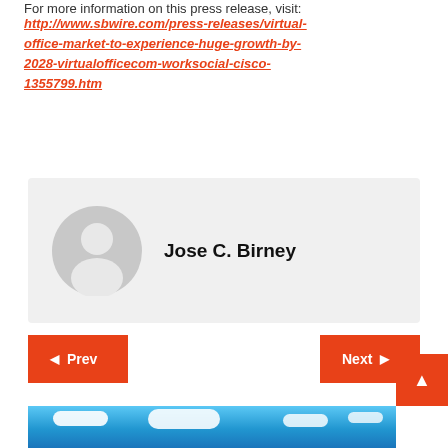For more information on this press release, visit:
http://www.sbwire.com/press-releases/virtual-office-market-to-experience-huge-growth-by-2028-virtualofficecom-worksocial-cisco-1355799.htm
[Figure (other): Author avatar placeholder — grey circle with white silhouette person icon]
Jose C. Birney
Prev
Next
[Figure (photo): Bottom photo showing blue sky with white clouds and partial building]